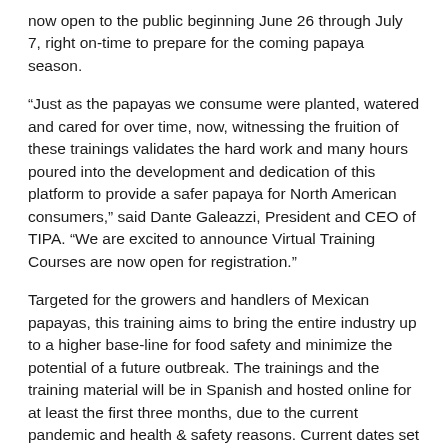now open to the public beginning June 26 through July 7, right on-time to prepare for the coming papaya season.
“Just as the papayas we consume were planted, watered and cared for over time, now, witnessing the fruition of these trainings validates the hard work and many hours poured into the development and dedication of this platform to provide a safer papaya for North American consumers,” said Dante Galeazzi, President and CEO of TIPA. “We are excited to announce Virtual Training Courses are now open for registration.”
Targeted for the growers and handlers of Mexican papayas, this training aims to bring the entire industry up to a higher base-line for food safety and minimize the potential of a future outbreak. The trainings and the training material will be in Spanish and hosted online for at least the first three months, due to the current pandemic and health & safety reasons. Current dates set for the online training are as follows: June 26, 29 & 30, and July 1, 2, 3, 6 & 7. These 8 classes set at the beginning and there will be offered...